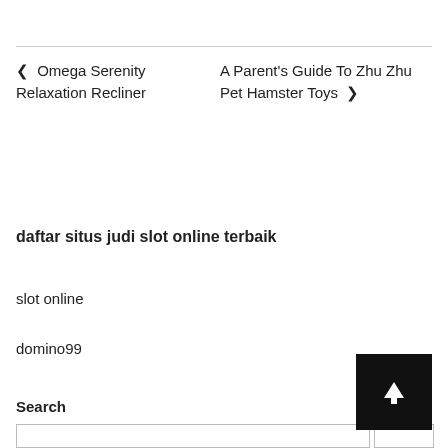❮ Omega Serenity Relaxation Recliner
A Parent's Guide To Zhu Zhu Pet Hamster Toys ❯
daftar situs judi slot online terbaik
slot online
domino99
Search